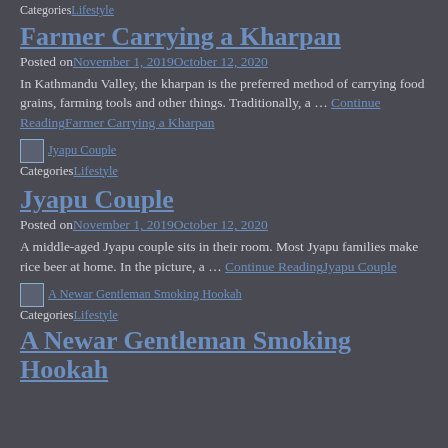CategoriesLifestyle
Farmer Carrying a Kharpan
Posted on November 1, 2019October 12, 2020
In Kathmandu Valley, the kharpan is the preferred method of carrying food grains, farming tools and other things. Traditionally, a … Continue ReadingFarmer Carrying a Kharpan
[Figure (photo): Thumbnail image for Jyapu Couple post]
CategoriesLifestyle
Jyapu Couple
Posted on November 1, 2019October 12, 2020
A middle-aged Jyapu couple sits in their room. Most Jyapu families make rice beer at home. In the picture, a … Continue ReadingJyapu Couple
[Figure (photo): Thumbnail image for A Newar Gentleman Smoking Hookah post]
CategoriesLifestyle
A Newar Gentleman Smoking Hookah